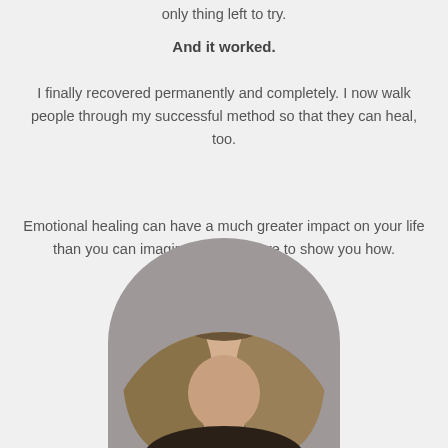only thing left to try.
And it worked.
I finally recovered permanently and completely. I now walk people through my successful method so that they can heal, too.
Emotional healing can have a much greater impact on your life than you can imagine. And I'm here to show you how.
[Figure (photo): Circular cropped portrait photo of a woman with wavy highlighted brown hair, photographed against a grey background, visible from roughly shoulders up]